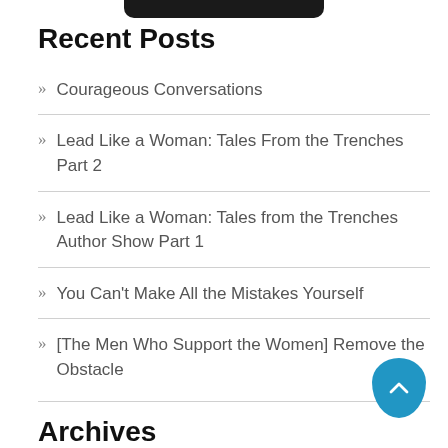Recent Posts
Courageous Conversations
Lead Like a Woman: Tales From the Trenches Part 2
Lead Like a Woman: Tales from the Trenches Author Show Part 1
You Can't Make All the Mistakes Yourself
[The Men Who Support the Women] Remove the Obstacle
Archives